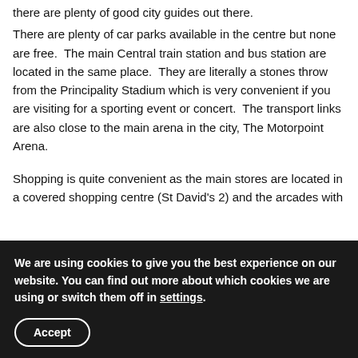there are plenty of good city guides out there.
There are plenty of car parks available in the centre but none are free.  The main Central train station and bus station are located in the same place.  They are literally a stones throw from the Principality Stadium which is very convenient if you are visiting for a sporting event or concert.  The transport links are also close to the main arena in the city, The Motorpoint Arena.
Shopping is quite convenient as the main stores are located in a covered shopping centre (St David's 2) and the arcades with
We are using cookies to give you the best experience on our website. You can find out more about which cookies we are using or switch them off in settings.
Accept